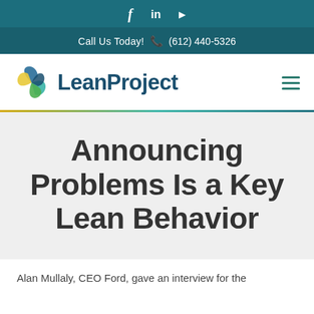f  in  ▶
Call Us Today!  ☎  (612) 440-5326
[Figure (logo): LeanProject logo with circular multi-color swirl icon and dark blue LeanProject text]
Announcing Problems Is a Key Lean Behavior
Alan Mullaly, CEO Ford, gave an interview for the